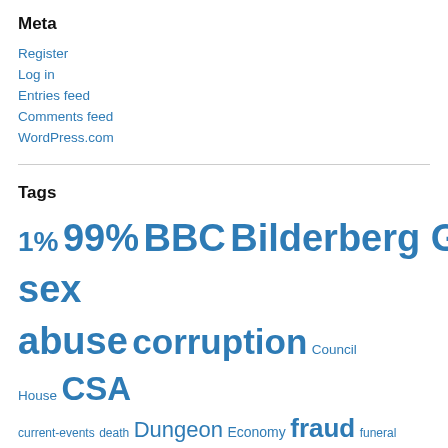Meta
Register
Log in
Entries feed
Comments feed
WordPress.com
Tags
1% 99% BBC Bilderberg Group child sex abuse corruption Council House CSA current-events death Dungeon Economy fraud funeral genocide Global Globalisation Golden Dawn Government h... Harriot Harman in